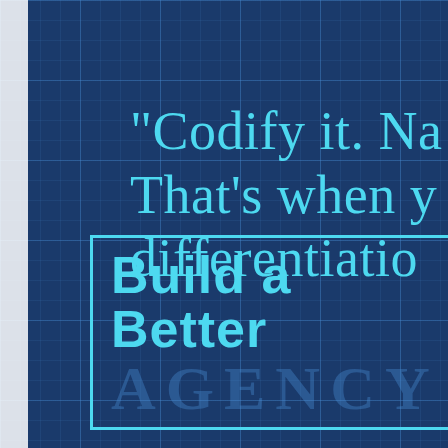[Figure (illustration): Blueprint-style dark blue background with grid lines and a partial white strip on the left edge]
"Codify it. Na... That's when y... differentiatio...
Build a Better AGENCY